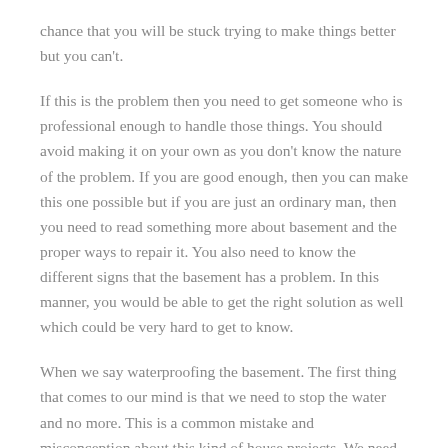chance that you will be stuck trying to make things better but you can't.
If this is the problem then you need to get someone who is professional enough to handle those things. You should avoid making it on your own as you don't know the nature of the problem. If you are good enough, then you can make this one possible but if you are just an ordinary man, then you need to read something more about basement and the proper ways to repair it. You also need to know the different signs that the basement has a problem. In this manner, you would be able to get the right solution as well which could be very hard to get to know.
When we say waterproofing the basement. The first thing that comes to our mind is that we need to stop the water and no more. This is a common mistake and misconception about this kind of house projects. We need to be more open-minded about the other